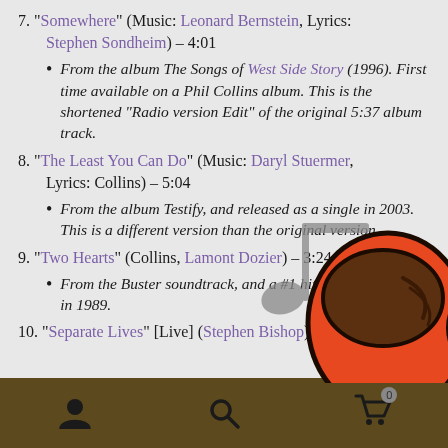7. "Somewhere" (Music: Leonard Bernstein, Lyrics: Stephen Sondheim) – 4:01
From the album The Songs of West Side Story (1996). First time available on a Phil Collins album. This is the shortened "Radio version Edit" of the original 5:37 album track.
8. "The Least You Can Do" (Music: Daryl Stuermer, Lyrics: Collins) – 5:04
From the album Testify, and released as a single in 2003. This is a different version than the original version.
9. "Two Hearts" (Collins, Lamont Dozier) – 3:24
From the Buster soundtrack, and a #1 hit single in the U.S. in 1989.
10. "Separate Lives" [Live] (Stephen Bishop) – 5:18
[Figure (illustration): An Among Us character (orange crewmate) with a musical note graphic overlaid, positioned at the bottom right of the page, overlapping the text content.]
Navigation bar with person icon, search icon, and shopping cart icon with badge 0